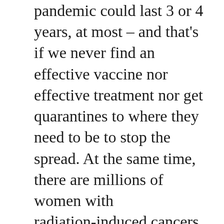pandemic could last 3 or 4 years, at most – and that's if we never find an effective vaccine nor effective treatment nor get quarantines to where they need to be to stop the spread. At the same time, there are millions of women with radiation-induced cancers, which will not be clinically significant for another 5–10 years. Those women will continue to have them grow, and the breast cancer rate will increase. If it were to be halted